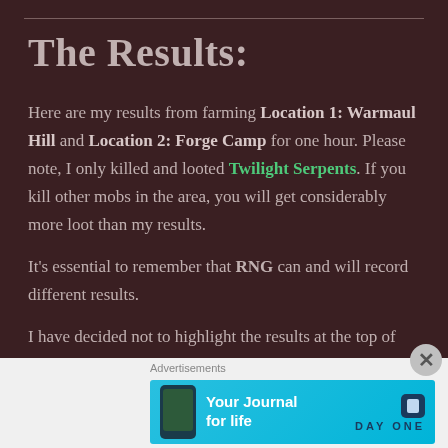The Results:
Here are my results from farming Location 1: Warmaul Hill and Location 2: Forge Camp for one hour. Please note, I only killed and looted Twilight Serpents. If you kill other mobs in the area, you will get considerably more loot than my results.
It's essential to remember that RNG can and will record different results.
I have decided not to highlight the results at the top of this
[Figure (infographic): Advertisement banner: 'Your Journal for life' - Day One app advertisement on light blue background with phone mockup and Day One logo]
Advertisements